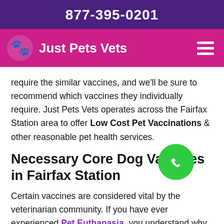877-395-0201
Just Pets Vets
require the similar vaccines, and we'll be sure to recommend which vaccines they individually require. Just Pets Vets operates across the Fairfax Station area to offer Low Cost Pet Vaccinations & other reasonable pet health services.
Necessary Core Dog Vaccines in Fairfax Station
Certain vaccines are considered vital by the veterinarian community. If you have ever experienced Pet Euthanasia, you understand why vaccines are so important. Just Pets Vets offers vaccines for dogs which are vital for their